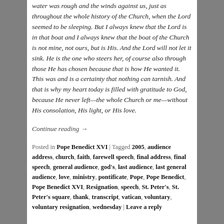water was rough and the winds against us, just as throughout the whole history of the Church, when the Lord seemed to be sleeping. But I always knew that the Lord is in that boat and I always knew that the boat of the Church is not mine, not ours, but is His. And the Lord will not let it sink. He is the one who steers her, of course also through those He has chosen because that is how He wanted it. This was and is a certainty that nothing can tarnish. And that is why my heart today is filled with gratitude to God, because He never left—the whole Church or me—without His consolation, His light, or His love.
Continue reading →
Posted in Pope Benedict XVI | Tagged 2005, audience address, church, faith, farewell speech, final address, final speech, general audience, god's, last audience, last general audience, love, ministry, pontificate, Pope, Pope Benedict, Pope Benedict XVI, Resignation, speech, St. Peter's, St. Peter's square, thank, transcript, vatican, voluntary, voluntary resignation, wednesday | Leave a reply